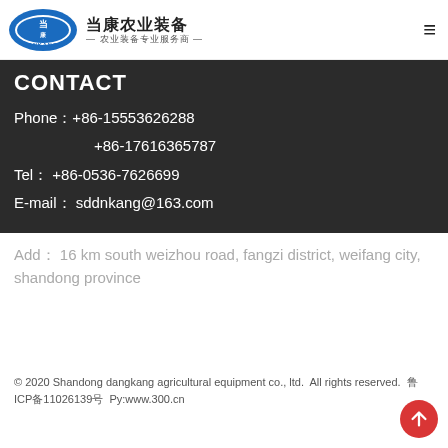当康农业装备 — 农业装备专业服务商 —
CONTACT
Phone：+86-15553626288
+86-17616365787
Tel： +86-0536-7626699
E-mail： sddnkang@163.com
Add： 16 km south weizhou road, fangzi district, weifang city, shandong province
© 2020 Shandong dangkang agricultural equipment co., ltd.  All rights reserved.  鲁ICP备11026139号  Py:www.300.cn